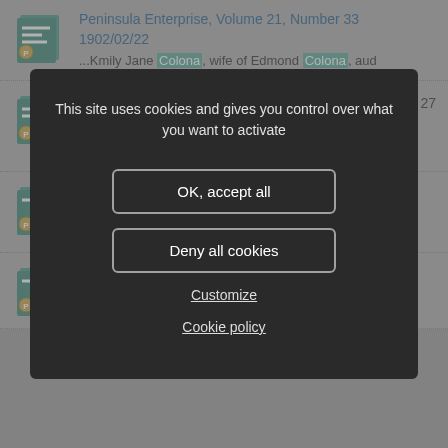[Figure (screenshot): Background webpage showing search results with newspaper/archive items. First item: Peninsula Enterprise, Volume 21, Number 33, 1902/02/22 with text excerpt mentioning Emily Jane Colona, wife of Edmond Colona. Partially visible second item with number 27. Partially visible third item. Fourth item: NC. He was born 2 Oct 1870... (United States - 1870). Fifth item partially visible: Sausalito News, Volume 36, Number 38.]
This site uses cookies and gives you control over what you want to activate
OK, accept all
Deny all cookies
Customize
Cookie policy